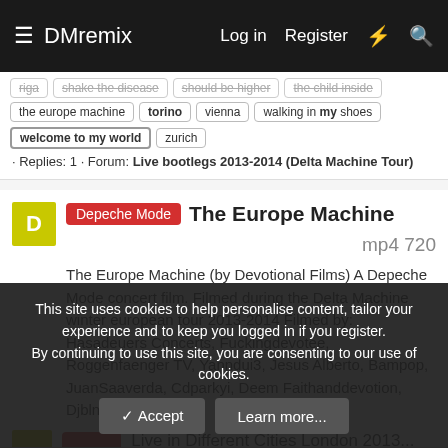DMremix — Log in   Register
riga · shake the disease · should be higher · the child inside · the europe machine · torino · vienna · walking in my shoes · welcome to my world · zurich · Replies: 1 · Forum: Live bootlegs 2013-2014 (Delta Machine Tour)
Depeche Mode  The Europe Machine  mp4 720
The Europe Machine (by Devotional Films) A Depeche Mode concert film. Filmed during the Delta Machine winter european tour 2013-2014 Filmed by: Hasadeuers Concerts, Fuckingdevotee, Roggenfaenger TV, Yanndui3, Jesus Alberto, Bampop, JuanSaaverda, Cdparkyi, Deem Faithanddevotion, Djblni...
demoderus · Resource · Jun 13, 2020 · Category: 2013-2014 Delta Machine Tour
This site uses cookies to help personalise content, tailor your experience and to keep you logged in if you register.
By continuing to use this site, you are consenting to our use of cookies.